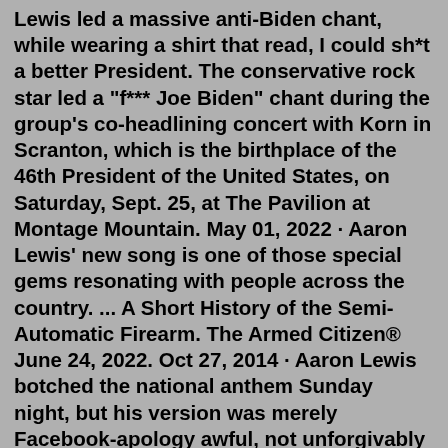Lewis led a massive anti-Biden chant, while wearing a shirt that read, I could sh*t a better President. The conservative rock star led a "f*** Joe Biden" chant during the group's co-headlining concert with Korn in Scranton, which is the birthplace of the 46th President of the United States, on Saturday, Sept. 25, at The Pavilion at Montage Mountain. May 01, 2022 · Aaron Lewis' new song is one of those special gems resonating with people across the country. ... A Short History of the Semi-Automatic Firearm. The Armed Citizen® June 24, 2022. Oct 27, 2014 · Aaron Lewis botched the national anthem Sunday night, but his version was merely Facebook-apology awful, not unforgivably awful like Roseanne Barr's 1990 rendition. You can experience both below ... Born in Springfield, Vermont, Lewis listened to folk music as a child. The son of divorced parents, he chronicled the emotional turmoil in his childhood with Staind, namely on tracks like "Epiphany" and "For You," from Break the Cycle.Oct 27, 2014 · Aaron Lewis botched the national anthem Sunday night, but his